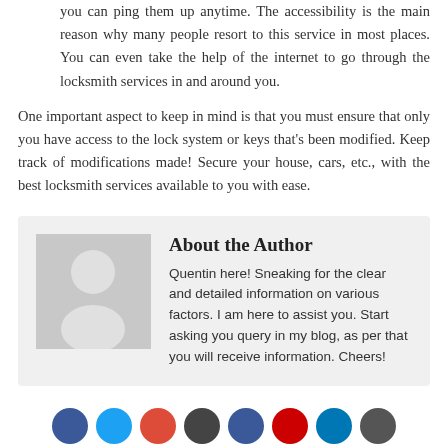you can ping them up anytime. The accessibility is the main reason why many people resort to this service in most places. You can even take the help of the internet to go through the locksmith services in and around you.
One important aspect to keep in mind is that you must ensure that only you have access to the lock system or keys that’s been modified. Keep track of modifications made! Secure your house, cars, etc., with the best locksmith services available to you with ease.
[Figure (illustration): Generic author avatar placeholder — grey square with white silhouette of a person]
About the Author
Quentin here! Sneaking for the clear and detailed information on various factors. I am here to assist you. Start asking you query in my blog, as per that you will receive information. Cheers!
[Figure (other): Row of social media icon circles: blue (Facebook), light blue (Twitter), red (Google+/Pinterest), dark grey (unknown), blue (LinkedIn/Facebook), red (Pinterest/YouTube), dark blue (LinkedIn), dark grey (other)]